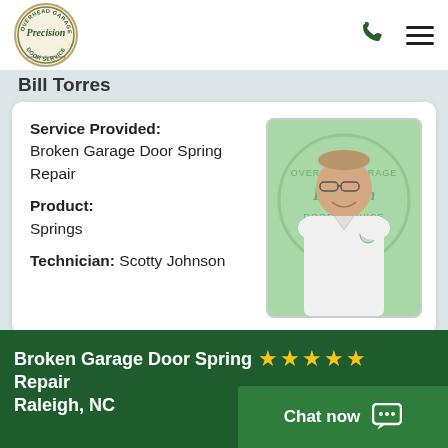[Figure (logo): Precision Overhead Garage Door Service logo - circular badge with 'Precision' text and 'a neighborly company' tagline]
Bill Torres
Service Provided: Broken Garage Door Spring Repair
Product: Springs
Technician: Scotty Johnson
[Figure (photo): Photo of technician Scotty Johnson smiling, wearing a white collared shirt with a Precision Door Service logo badge, against a green Precision logo background]
Broken Garage Door Spring Repair ★★★★★
Raleigh, NC
Chat now